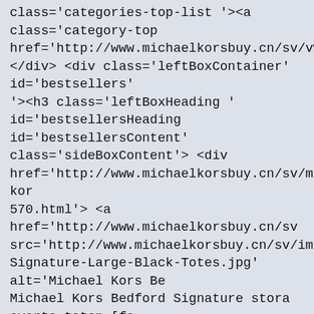class='categories-top-list '><a class='category-top href='http://www.michaelkorsbuy.cn/sv/v%C3%A4rd </div> <div class='leftBoxContainer' id='bestsellers' ><h3 class='leftBoxHeading ' id='bestsellersHeading id='bestsellersContent' class='sideBoxContent'> <div href='http://www.michaelkorsbuy.cn/sv/michael-kor 570.html'> <a href='http://www.michaelkorsbuy.cn/sv src='http://www.michaelkorsbuy.cn/sv/images/_sm Signature-Large-Black-Totes.jpg' alt='Michael Kors Be Michael Kors Bedford Signature stora svarta toton [fe Kors Bedford Signature stora svarta toton [fe69]</a> </span>&nbsp;<span class='productSpecialPrice'>SE <br />Spara:&nbsp;16% mindre</span></li><li><a hre kors-charm-logo-stor-marinen-totes-5566-p-1329.ht href='http://www.michaelkorsbuy.cn/sv/backar-c-12. src='http://www.michaelkorsbuy.cn/sv/images/_sm Logo-Large-Navy-Totes.jpg' alt='Michael Kors Charm Charm logo Stor marinen Totes [5566] ' width='130' he Stor marinen Totes [5566]</a> <br /><span class='no class='productSpecialPrice'>SEK 615</span><span c